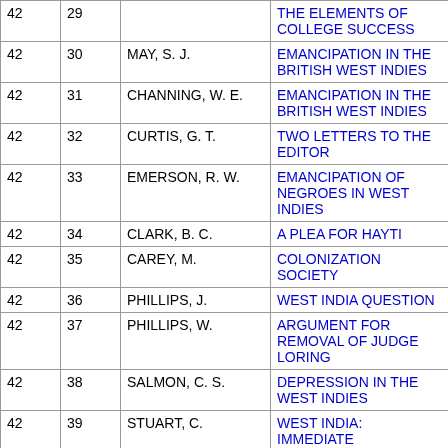| Col1 | Col2 | Author | Title |
| --- | --- | --- | --- |
| 42 | 29 |  | THE ELEMENTS OF COLLEGE SUCCESS |
| 42 | 30 | MAY, S. J. | EMANCIPATION IN THE BRITISH WEST INDIES |
| 42 | 31 | CHANNING, W. E. | EMANCIPATION IN THE BRITISH WEST INDIES |
| 42 | 32 | CURTIS, G. T. | TWO LETTERS TO THE EDITOR |
| 42 | 33 | EMERSON, R. W. | EMANCIPATION OF NEGROES IN WEST INDIES |
| 42 | 34 | CLARK, B. C. | A PLEA FOR HAYTI |
| 42 | 35 | CAREY, M. | COLONIZATION SOCIETY |
| 42 | 36 | PHILLIPS, J. | WEST INDIA QUESTION |
| 42 | 37 | PHILLIPS, W. | ARGUMENT FOR REMOVAL OF JUDGE LORING |
| 42 | 38 | SALMON, C. S. | DEPRESSION IN THE WEST INDIES |
| 42 | 39 | STUART, C. | WEST INDIA: IMMEDIATE |